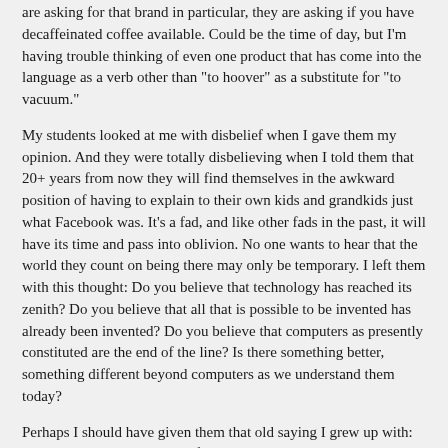are asking for that brand in particular, they are asking if you have decaffeinated coffee available. Could be the time of day, but I'm having trouble thinking of even one product that has come into the language as a verb other than "to hoover" as a substitute for "to vacuum."
My students looked at me with disbelief when I gave them my opinion. And they were totally disbelieving when I told them that 20+ years from now they will find themselves in the awkward position of having to explain to their own kids and grandkids just what Facebook was. It's a fad, and like other fads in the past, it will have its time and pass into oblivion. No one wants to hear that the world they count on being there may only be temporary. I left them with this thought: Do you believe that technology has reached its zenith? Do you believe that all that is possible to be invented has already been invented? Do you believe that computers as presently constituted are the end of the line? Is there something better, something different beyond computers as we understand them today?
Perhaps I should have given them that old saying I grew up with: here today, gone tomorrow. If it could happen to me, it can happen